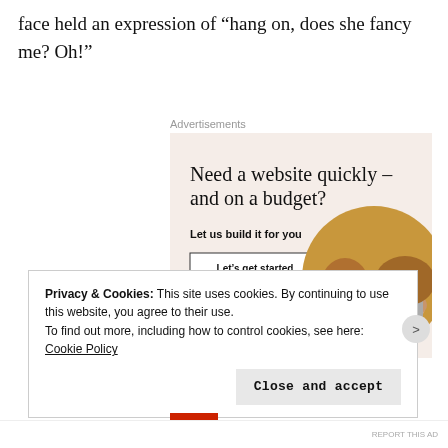face held an expression of “hang on, does she fancy me? Oh!”
Advertisements
[Figure (other): Advertisement banner: 'Need a website quickly – and on a budget? Let us build it for you' with a 'Let’s get started' button and a circular photo of hands typing on a laptop.]
Privacy & Cookies: This site uses cookies. By continuing to use this website, you agree to their use.
To find out more, including how to control cookies, see here: Cookie Policy
Close and accept